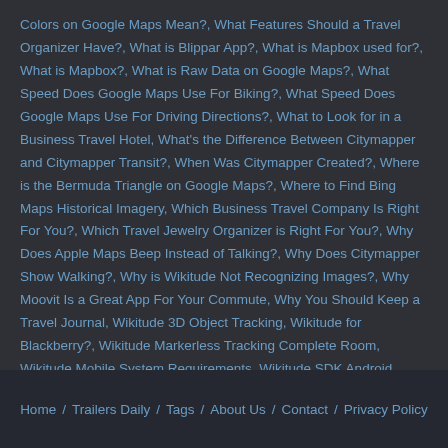Colors on Google Maps Mean?, What Features Should a Travel Organizer Have?, What is Blippar App?, What is Mapbox used for?, What is Mapbox?, What is Raw Data on Google Maps?, What Speed Does Google Maps Use For Biking?, What Speed Does Google Maps Use For Driving Directions?, What to Look for in a Business Travel Hotel, What's the Difference Between Citymapper and Citymapper Transit?, When Was Citymapper Created?, Where is the Bermuda Triangle on Google Maps?, Where to Find Bing Maps Historical Imagery, Which Business Travel Company Is Right For You?, Which Travel Jewelry Organizer is Right For You?, Why Does Apple Maps Beep Instead of Talking?, Why Does Citymapper Show Walking?, Why is Wikitude Not Recognizing Images?, Why Moovit Is a Great App For Your Commute, Why You Should Keep a Travel Journal, Wikitude 3D Object Tracking, Wikitude for Blackberry?, Wikitude Markerless Tracking Complete Room, Wikitude Mobile System Requirements, Wikitude SDK Android Tutorial, Wikitude SLAM, SMART 7, and SMART 8 SDKs, Zoom in and Out in Google Maps using new tricks
Home / Trailers Daily / Tags / About Us / Contact / Privacy Policy